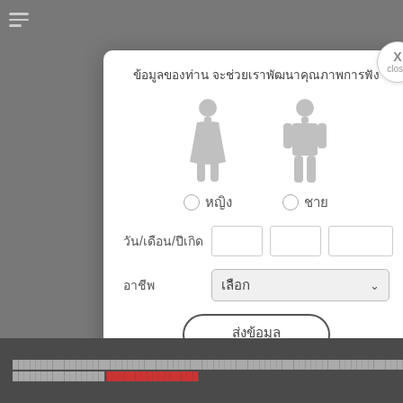[Figure (screenshot): Mobile app screenshot showing a data collection modal dialog with gender selection icons (female/male), date of birth fields, occupation dropdown, and a submit button. Below the modal is a cookie/consent banner with accept button.]
ข้อมูลของท่าน จะช่วยเราพัฒนาคุณภาพการฟัง
หญิง
ชาย
วัน/เดือน/ปีเกิด
อาชีพ
เลือก
ส่งข้อมูล
ยอมรับ
X close